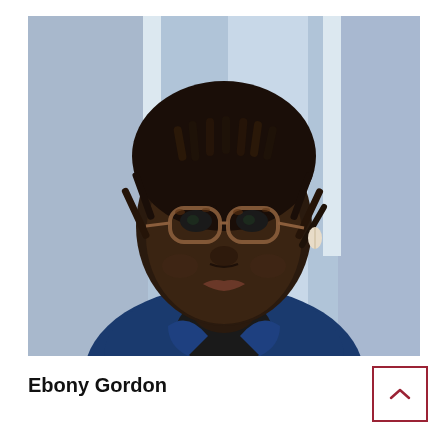[Figure (photo): Headshot of Ebony Gordon, a young Black woman with loc'd hair, wearing tortoiseshell glasses, a black turtleneck, and a dark denim jacket, photographed against a blurred blue background.]
Ebony Gordon